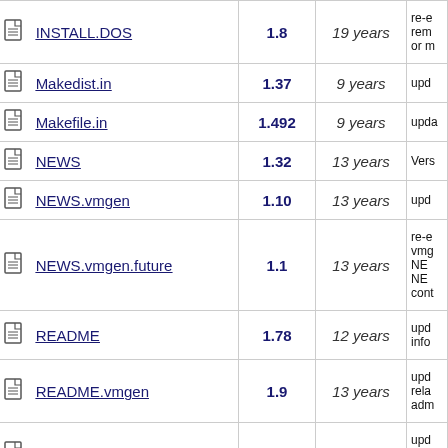| Name | Rev | Age | Log |
| --- | --- | --- | --- |
| INSTALL.DOS | 1.8 | 19 years | re...rem... or m... |
| Makedist.in | 1.37 | 9 years | upd... |
| Makefile.in | 1.492 | 9 years | upda... |
| NEWS | 1.32 | 13 years | Vers... |
| NEWS.vmgen | 1.10 | 13 years | upd... |
| NEWS.vmgen.future | 1.1 | 13 years | re-e... vmg... NE... NE... cont... |
| README | 1.78 | 12 years | upd... info... |
| README.vmgen | 1.9 | 13 years | upd... rela... adm... |
| ToDo | 1.14 | 14 years | upd... afte... noti... |
| ToDo-native | 1.5 | 14 years | upd... afte... noti... |
|  |  |  | Bett... |